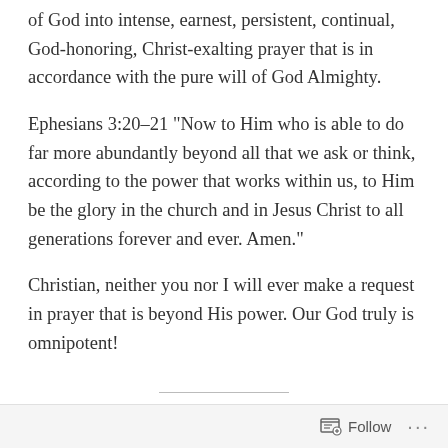of God into intense, earnest, persistent, continual, God-honoring, Christ-exalting prayer that is in accordance with the pure will of God Almighty.
Ephesians 3:20–21 “Now to Him who is able to do far more abundantly beyond all that we ask or think, according to the power that works within us, to Him be the glory in the church and in Jesus Christ to all generations forever and ever. Amen.”
Christian, neither you nor I will ever make a request in prayer that is beyond His power. Our God truly is omnipotent!
Philippians 4:6–7 “Be anxious for nothing, but in
Follow